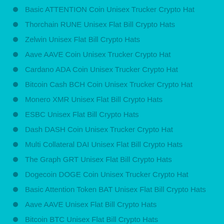Basic ATTENTION Coin Unisex Trucker Crypto Hat
Thorchain RUNE Unisex Flat Bill Crypto Hats
Zelwin Unisex Flat Bill Crypto Hats
Aave AAVE Coin Unisex Trucker Crypto Hat
Cardano ADA Coin Unisex Trucker Crypto Hat
Bitcoin Cash BCH Coin Unisex Trucker Crypto Hat
Monero XMR Unisex Flat Bill Crypto Hats
ESBC Unisex Flat Bill Crypto Hats
Dash DASH Coin Unisex Trucker Crypto Hat
Multi Collateral DAI Unisex Flat Bill Crypto Hats
The Graph GRT Unisex Flat Bill Crypto Hats
Dogecoin DOGE Coin Unisex Trucker Crypto Hat
Basic Attention Token BAT Unisex Flat Bill Crypto Hats
Aave AAVE Unisex Flat Bill Crypto Hats
Bitcoin BTC Unisex Flat Bill Crypto Hats
Bitcoin Cash BCH Unisex Flat Bill Crypto Hats
Cardano ADA Unisex Flat Bill Crypto Hats
Dash DASH Unisex Flat Bill Crypto Hats